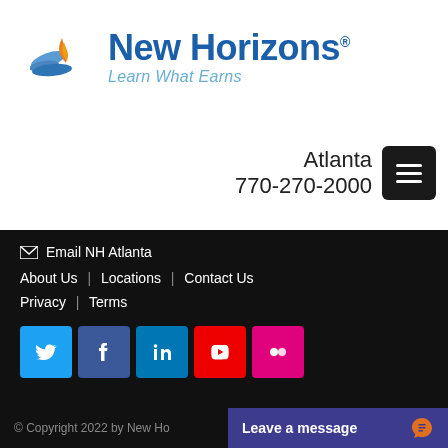[Figure (logo): New Horizons logo with stylized wing/bird icon in blue and orange, text 'New Horizons' in bold blue, tagline 'Learn What Earns' in light blue italic]
Atlanta
770-270-2000
✉ Email NH Atlanta
About Us | Locations | Contact Us
Privacy | Terms
[Figure (infographic): Row of social media icons: Twitter (blue), Facebook (dark blue), LinkedIn (blue), YouTube (red), Flickr (pink)]
© Copyright 2022 by New Ho...
Leave a message